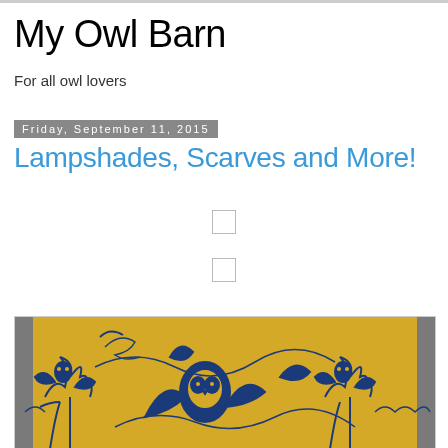My Owl Barn
For all owl lovers
Friday, September 11, 2015
Lampshades, Scarves and More!
[Figure (photo): A cylindrical lampshade with blue floral/owl pattern printed on a beige/natural fabric, photographed against a gray background.]